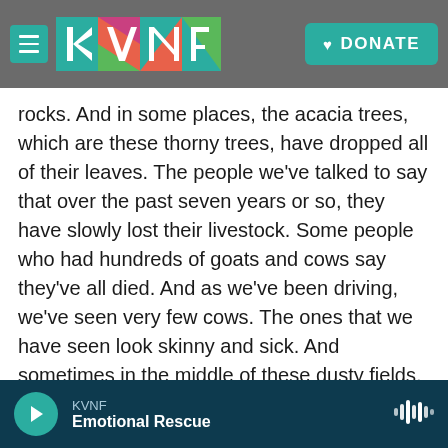[Figure (screenshot): KVNF public radio website navigation bar with hamburger menu icon, KVNF logo in colored tiles, and teal DONATE button with heart icon]
rocks. And in some places, the acacia trees, which are these thorny trees, have dropped all of their leaves. The people we've talked to say that over the past seven years or so, they have slowly lost their livestock. Some people who had hundreds of goats and cows say they've all died. And as we've been driving, we've seen very few cows. The ones that we have seen look skinny and sick. And sometimes in the middle of these dusty fields, we've seen the carcasses of cows and sheep who just couldn't get enough to eat.
We've been to small villages that are now totally
[Figure (screenshot): KVNF audio player bar at bottom showing play button, station name KVNF, track title Emotional Rescue, and waveform icon]